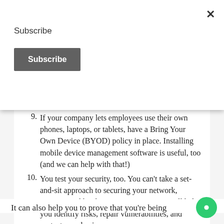×
Subscribe
Subscribe
9. If your company lets employees use their own phones, laptops, or tablets, have a Bring Your Own Device (BYOD) policy in place. Installing mobile device management software is useful, too (and we can help with that!)
10. You test your security, too. You can't take a set-and-sit approach to securing your network, systems, and hardware. Ongoing testing will help you identify risks, repair vulnerabilities, and protect your business.
It can also help you to prove that you're being